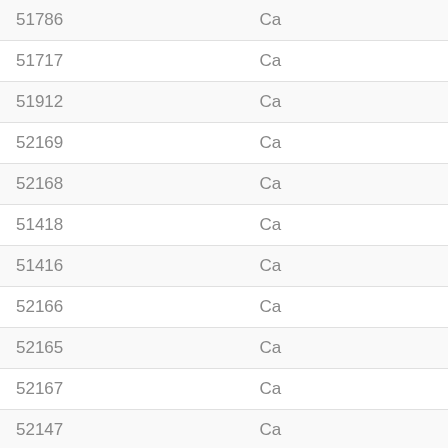| ID | Name |
| --- | --- |
| 51786 | Ca… |
| 51717 | Ca… |
| 51912 | Ca… |
| 52169 | Ca… |
| 52168 | Ca… |
| 51418 | Ca… |
| 51416 | Ca… |
| 52166 | Ca… |
| 52165 | Ca… |
| 52167 | Ca… |
| 52147 | Ca… |
| 52103 | Ca… |
| 52212 | Ca… |
| 52213 | Ce… |
| 49834 | Co… |